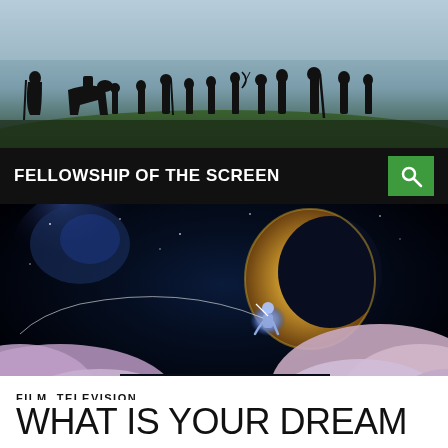[Figure (photo): Silhouettes of a group of travelers including a horse walking across a grassy hillside against a dramatic sky — resembling the Fellowship of the Ring.]
FELLOWSHIP OF THE SCREEN
[Figure (photo): A glowing figure sits on a crescent moon fishing, surrounded by purple and pink clouds against a dark starry sky — resembling the DreamWorks logo.]
FILM, TELEVISION
WHAT IS YOUR DREAM